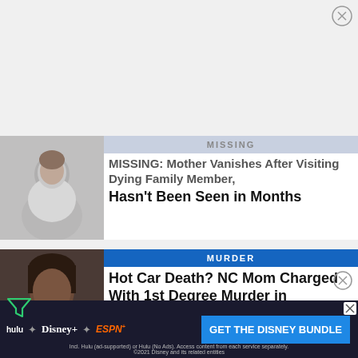[Figure (other): Close button (X in circle) top right corner]
[Figure (photo): Grayscale photo of a woman in white clothing, article thumbnail for missing person story]
MISSING
MISSING: Mother Vanishes After Visiting Dying Family Member, Hasn't Been Seen in Months
[Figure (photo): Mugshot photo of a young Black woman with braids]
MURDER
Hot Car Death? NC Mom Charged With 1st Degree Murder in Toddlers' Deaths
[Figure (other): Filter/funnel icon in green, left side]
[Figure (other): Close button (X in circle) mid right]
[Figure (other): Disney Bundle advertisement banner with Hulu, Disney+, ESPN+ logos and GET THE DISNEY BUNDLE CTA]
Incl. Hulu (ad-supported) or Hulu (No Ads). Access content from each service separately. ©2021 Disney and its related entities